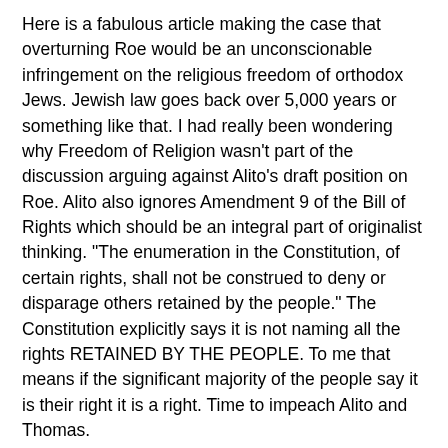Here is a fabulous article making the case that overturning Roe would be an unconscionable infringement on the religious freedom of orthodox Jews. Jewish law goes back over 5,000 years or something like that. I had really been wondering why Freedom of Religion wasn't part of the discussion arguing against Alito's draft position on Roe. Alito also ignores Amendment 9 of the Bill of Rights which should be an integral part of originalist thinking. "The enumeration in the Constitution, of certain rights, shall not be construed to deny or disparage others retained by the people." The Constitution explicitly says it is not naming all the rights RETAINED BY THE PEOPLE. To me that means if the significant majority of the people say it is their right it is a right. Time to impeach Alito and Thomas.
Another thing I like about the explanation of Jewish Law in this article is a theme I've been stating many times over. The OR world of black and white is just not